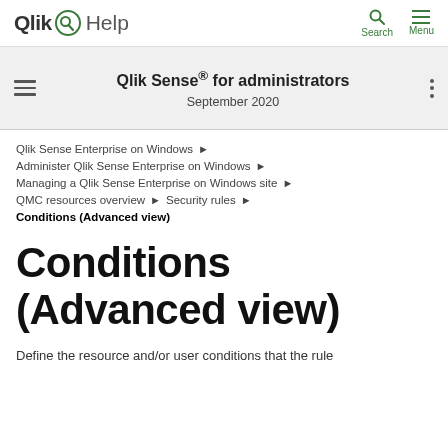Qlik Help — Search Menu
Qlik Sense® for administrators
September 2020
Qlik Sense Enterprise on Windows ▶
Administer Qlik Sense Enterprise on Windows ▶
Managing a Qlik Sense Enterprise on Windows site ▶
QMC resources overview ▶ Security rules ▶
Conditions (Advanced view)
Conditions (Advanced view)
Define the resource and/or user conditions that the rule